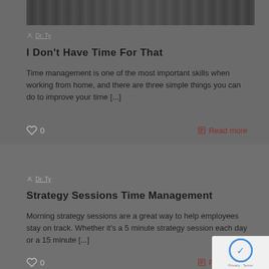[Figure (photo): Black and white hero image strip showing a person working]
Dr. Ty
I Don't Have Time For That
Time management is one of the most important skills when working from home, and there are three simple things you can do to improve your time [...]
0  Read more
Dr. Ty
Strategy Sessions Time Management
Morning strategy sessions are a great way to help employees stay on track. Whether it's a 5 minute strategy session each day or a 15 minute [...]
0  Read more